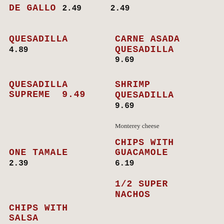DE GALLO  2.49   2.49
QUESADILLA  4.89
CARNE ASADA QUESADILLA  9.69
QUESADILLA SUPREME  9.49
SHRIMP QUESADILLA  9.69
Monterey cheese
ONE TAMALE  2.39
CHIPS WITH GUACAMOLE  6.19
CHIPS WITH SALSA...
1/2 SUPER NACHOS...